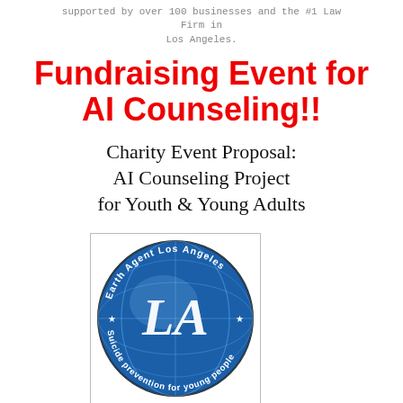supported by over 100 businesses and the #1 Law Firm in Los Angeles.
Fundraising Event for AI Counseling!!
Charity Event Proposal: AI Counseling Project for Youth & Young Adults
[Figure (logo): Earth Agent Los Angeles circular logo — a blue globe with 'LA' monogram in white italic letters, surrounded by circular text reading 'Earth Agent Los Angeles' on top and 'Suicide prevention for young people' on bottom, with stars on the sides.]